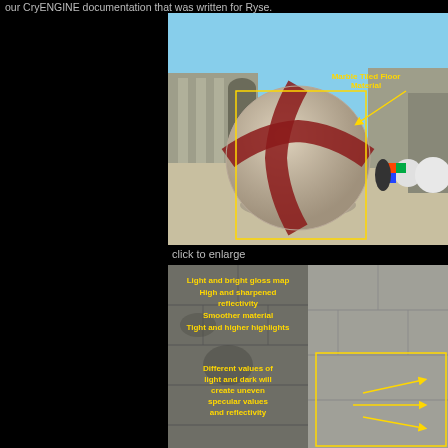our CryENGINE documentation that was written for Ryse.
[Figure (screenshot): 3D rendered scene of a marble sphere with red cross pattern, in a Roman courtyard environment. A yellow box highlights the sphere and an arrow points to a label reading 'Marble Tiled Floor Material'.]
click to enlarge
[Figure (screenshot): Annotated stone wall texture demonstrating gloss map and reflectivity properties. Yellow text labels read: 'Light and bright gloss map', 'High and sharpened reflectivity', 'Smoother material', 'Tight and higher highlights', 'Different values of light and dark will create uneven specular values and reflectivity'. Arrows point to different regions.]